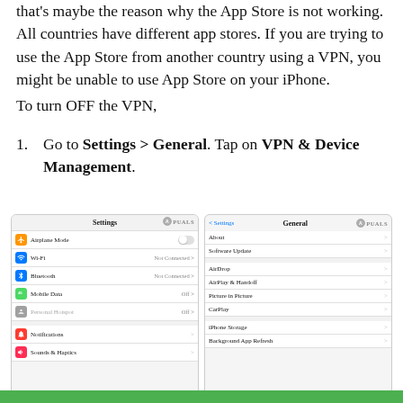that's maybe the reason why the App Store is not working. All countries have different app stores. If you are trying to use the App Store from another country using a VPN, you might be unable to use App Store on your iPhone.
To turn OFF the VPN,
Go to Settings > General. Tap on VPN & Device Management.
[Figure (screenshot): Two side-by-side iPhone screenshots: left shows the main Settings screen with Airplane Mode, Wi-Fi, Bluetooth, Mobile Data, Personal Hotspot, Notifications, Sounds & Haptics; right shows the General settings screen with About, Software Update, AirDrop, AirPlay & Handoff, Picture in Picture, CarPlay, iPhone Storage, Background App Refresh. Both have an Appuals watermark.]